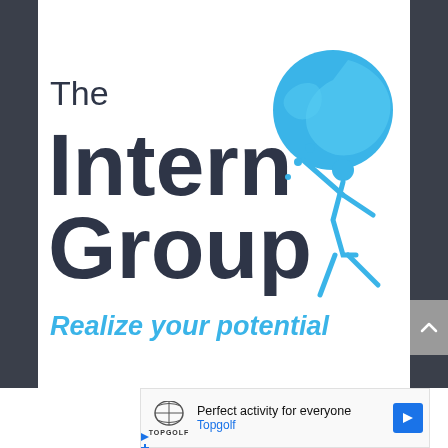[Figure (logo): The Intern Group logo — dark navy bold text 'The Intern Group' with a blue globe and person figure icon, and tagline 'Realize your potential' in blue italic below]
[Figure (screenshot): Advertisement banner: Topgolf logo, text 'Perfect activity for everyone', 'Topgolf', blue navigation arrow icon, and ad markers]